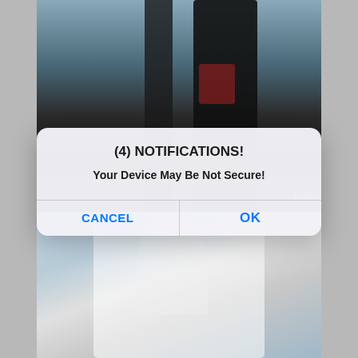[Figure (screenshot): A mobile browser screenshot showing two background photos (a dark figure silhouette at the top, and a person in a white top at the bottom) overlaid with a fake iOS-style alert dialog. The alert reads '(4) NOTIFICATIONS!' and 'Your Device May Be Not Secure!' with CANCEL and OK buttons. This is a social engineering/scam notification popup.]